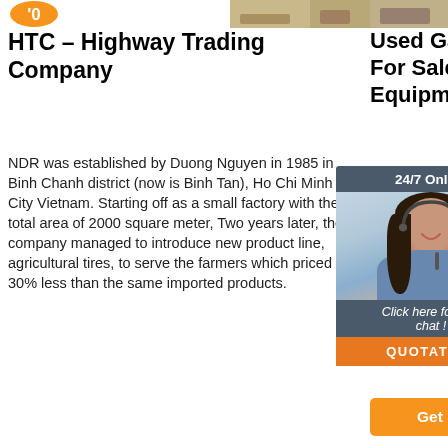[Figure (logo): Orange circular logo at top left]
[Figure (photo): Decorative image strip at top right]
HTC – Highway Trading Company
NDR was established by Duong Nguyen in 1985 in Binh Chanh district (now is Binh Tan), Ho Chi Minh City Vietnam. Starting off as a small factory with the total area of 2000 square meter, Two years later, the company managed to introduce new product line, agricultural tires, to serve the farmers which priced 30% less than the same imported products.
Used Gantry Crane For Sale. Budgit Equipment More
woodsto... gantry c... adjustab... used. st... portable... on caste... brand. a... heights. right span 9'6' space height max 7'7' price $2750.00 optional 2-ton cm brand manual hoist price $1300.00 optional 3...
[Figure (infographic): 24/7 Online chat widget overlay with woman avatar wearing headset, 'Click here for free chat!' text, and QUOTATION button]
[Figure (logo): TOP logo with up arrow circle]
Get Price